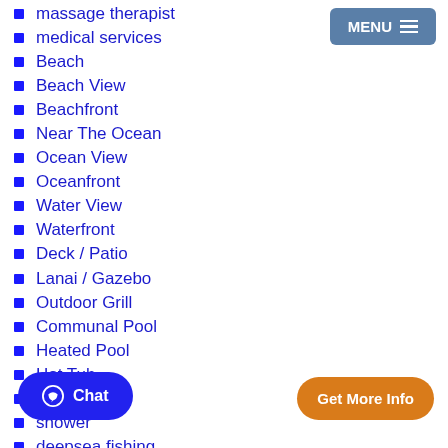massage therapist
medical services
Beach
Beach View
Beachfront
Near The Ocean
Ocean View
Oceanfront
Water View
Waterfront
Deck / Patio
Lanai / Gazebo
Outdoor Grill
Communal Pool
Heated Pool
Hot Tub
full
shower
deepsea fishing
golf